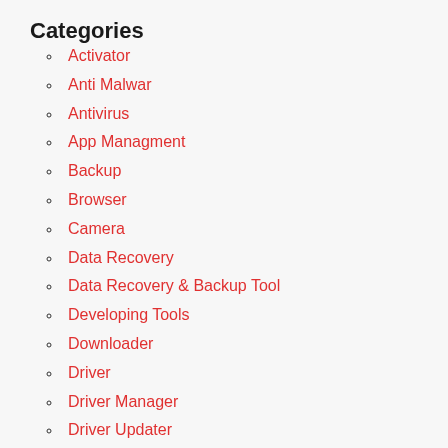Categories
Activator
Anti Malwar
Antivirus
App Managment
Backup
Browser
Camera
Data Recovery
Data Recovery & Backup Tool
Developing Tools
Downloader
Driver
Driver Manager
Driver Updater